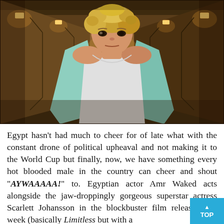[Figure (photo): A blonde woman in a white t-shirt and open light teal/mint jacket walking down a dimly lit hotel corridor with warm amber/brown lighting and multiple doors visible on both sides.]
Egypt hasn't had much to cheer for of late what with the constant drone of political upheaval and not making it to the World Cup but finally, now, we have something every hot blooded male in the country can cheer and shout "AYWAAAAA!" to. Egyptian actor Amr Waked acts alongside the jaw-droppingly gorgeous superstar actress Scarlett Johansson in the blockbuster film released last week (basically Limitless but with a